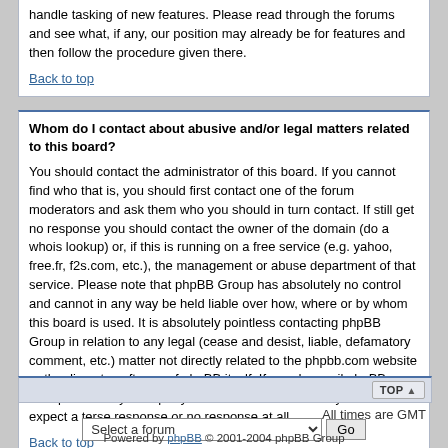handle tasking of new features. Please read through the forums and see what, if any, our position may already be for features and then follow the procedure given there.
Back to top
Whom do I contact about abusive and/or legal matters related to this board?
You should contact the administrator of this board. If you cannot find who that is, you should first contact one of the forum moderators and ask them who you should in turn contact. If still get no response you should contact the owner of the domain (do a whois lookup) or, if this is running on a free service (e.g. yahoo, free.fr, f2s.com, etc.), the management or abuse department of that service. Please note that phpBB Group has absolutely no control and cannot in any way be held liable over how, where or by whom this board is used. It is absolutely pointless contacting phpBB Group in relation to any legal (cease and desist, liable, defamatory comment, etc.) matter not directly related to the phpbb.com website or the discrete software of phpBB itself. If you do email phpBB Group about any third party use of this software then you should expect a terse response or no response at all.
Back to top
All times are GMT
Powered by phpBB © 2001-2004 phpBB Group
phpBB Style created by phpBBStyles.com and distributed by Styles Database.